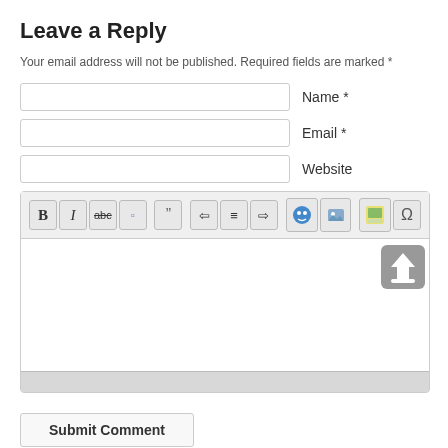Leave a Reply
Your email address will not be published. Required fields are marked *
[Figure (screenshot): Web comment form with Name, Email, Website input fields, a rich text editor with toolbar (bold, italic, strikethrough, eraser, blockquote, alignment, emoji, link, image, omega buttons), a large text area with an upload arrow button, and a Submit Comment button.]